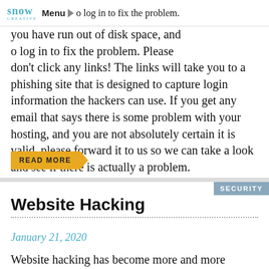snow creative | Menu
you have run out of disk space, and you to log in to fix the problem. Please don't click any links! The links will take you to a phishing site that is designed to capture login information the hackers can use. If you get any email that says there is some problem with your hosting, and you are not absolutely certain it is valid, please forward it to us so we can take a look and see if there is actually a problem.
READ MORE
SECURITY
Website Hacking
January 21, 2020
Website hacking has become more and more frequent and sophisticated in recent years. We've developed some custom tools to help us discover all the files installed by hackers and get rid of them.